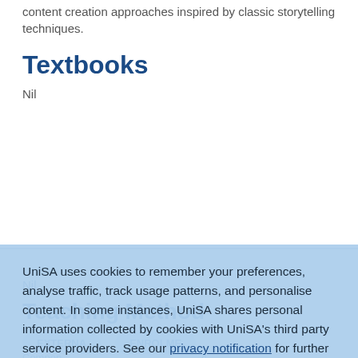content creation approaches inspired by classic storytelling techniques.
Textbooks
Nil
UniSA uses cookies to remember your preferences, analyse traffic, track usage patterns, and personalise content. In some instances, UniSA shares personal information collected by cookies with UniSA's third party service providers. See our privacy notification for further details. To adjust your cookie settings, click 'More information'. By clicking 'Accept and continue', you consent to our use of cookies.
Accept and continue
More information